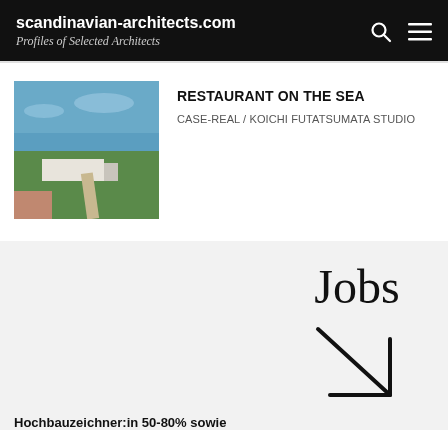scandinavian-architects.com — Profiles of Selected Architects
[Figure (photo): Aerial photo of a white building near the sea with green landscape and blue sky]
RESTAURANT ON THE SEA
CASE-REAL / KOICHI FUTATSUMATA STUDIO
[Figure (infographic): Jobs advertisement banner with large 'Jobs' text and a diagonal arrow pointing down-right]
Hochbauzeichner:in 50-80% sowie